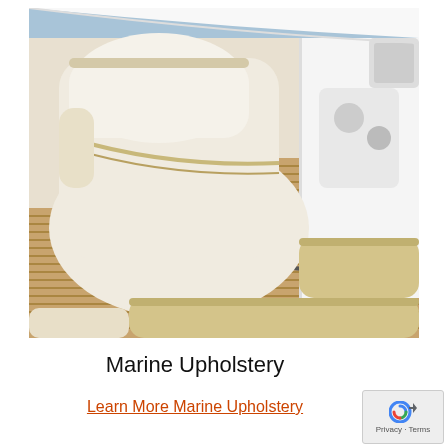[Figure (photo): Interior of a boat cockpit showing cream/beige upholstered seats and teak wood slatted flooring with dark accent strips. A white helm seat is prominent on the left, and bench seating with beige cushions is visible around the perimeter.]
Marine Upholstery
Learn More Marine Upholstery